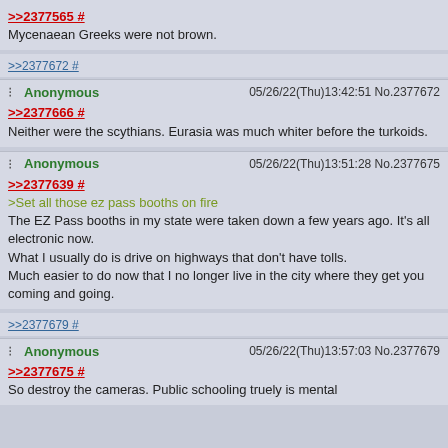>>2377565 #
Mycenaean Greeks were not brown.
>>2377672 #
Anonymous 05/26/22(Thu)13:42:51 No.2377672
>>2377666 #
Neither were the scythians. Eurasia was much whiter before the turkoids.
Anonymous 05/26/22(Thu)13:51:28 No.2377675
>>2377639 #
>Set all those ez pass booths on fire
The EZ Pass booths in my state were taken down a few years ago. It's all electronic now.
What I usually do is drive on highways that don't have tolls.
Much easier to do now that I no longer live in the city where they get you coming and going.
>>2377679 #
Anonymous 05/26/22(Thu)13:57:03 No.2377679
>>2377675 #
So destroy the cameras. Public schooling truely is mental